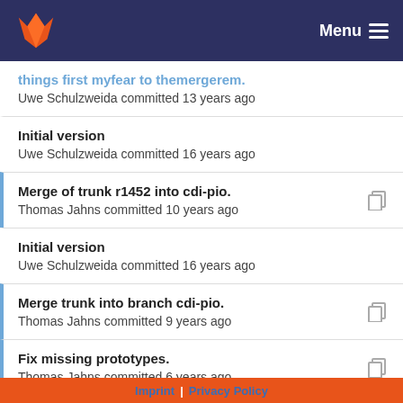Menu
Uwe Schulzweida committed 13 years ago
Initial version
Uwe Schulzweida committed 16 years ago
Merge of trunk r1452 into cdi-pio.
Thomas Jahns committed 10 years ago
Initial version
Uwe Schulzweida committed 16 years ago
Merge trunk into branch cdi-pio.
Thomas Jahns committed 9 years ago
Fix missing prototypes.
Thomas Jahns committed 6 years ago
Merge trunk into branch cdi-pio.
Thomas Jahns committed 9 years ago
Imprint | Privacy Policy